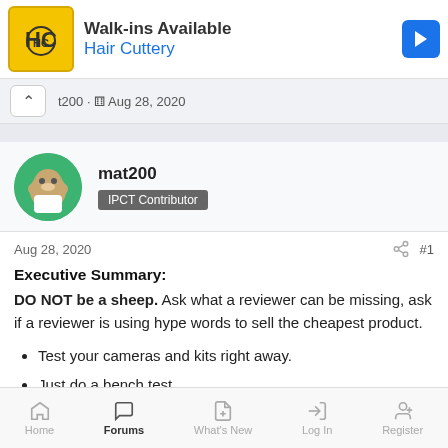[Figure (screenshot): Advertisement banner for Hair Cuttery showing logo, 'Walk-ins Available' text, and directional arrow icon]
mat200 · Aug 28, 2020
mat200
IPCT Contributor
Aug 28, 2020  #1
Executive Summary:
DO NOT be a sheep. Ask what a reviewer can be missing, ask if a reviewer is using hype words to sell the cheapest product.
• Test your cameras and kits right away.
• Just do a bench test.
• Test real world conditions.
Home  Forums  What's New  Log In  Register